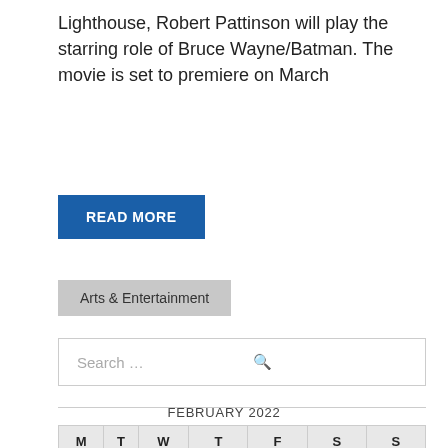Lighthouse, Robert Pattinson will play the starring role of Bruce Wayne/Batman. The movie is set to premiere on March
READ MORE
Arts & Entertainment
Search ...
FEBRUARY 2022
| M | T | W | T | F | S | S |
| --- | --- | --- | --- | --- | --- | --- |
|  | 1 | 2 | 3 | 4 | 5 | 6 |
| 7 | 8 | 9 | 10 | 11 | 12 | 13 |